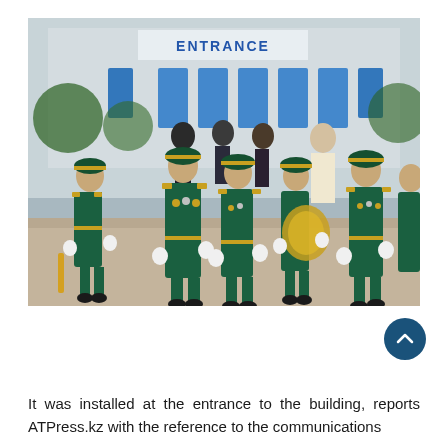[Figure (photo): Military band members in green dress uniforms with gold epaulettes and white gloves marching in formation outside a building with an ENTRANCE sign. Several musicians carry brass instruments. Dignitaries and officials visible in the background.]
It was installed at the entrance to the building, reports ATPress.kz with the reference to the communications